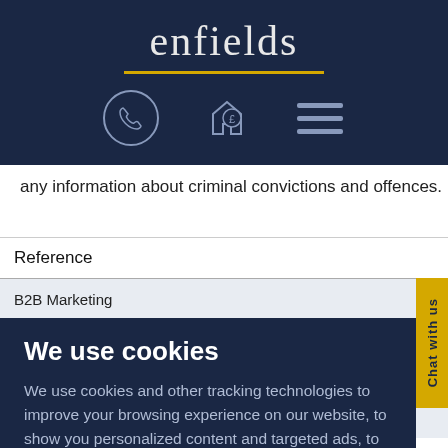[Figure (logo): Enfields logo with phone, house/pound, and menu icons on dark navy background]
any information about criminal convictions and offences.
| Reference | What categories of info |
| --- | --- |
| B2B Marketing | Identity Data
Contact Data |
| Advertising | Technical Data
Usage Data |
| Fraud Prevention | Transaction Data |
We use cookies
We use cookies and other tracking technologies to improve your browsing experience on our website, to show you personalized content and targeted ads, to analyze our website traffic, and to understand